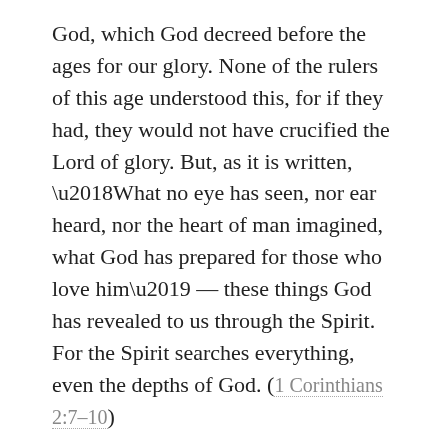God, which God decreed before the ages for our glory. None of the rulers of this age understood this, for if they had, they would not have crucified the Lord of glory. But, as it is written, ‘What no eye has seen, nor ear heard, nor the heart of man imagined, what God has prepared for those who love him’ — these things God has revealed to us through the Spirit. For the Spirit searches everything, even the depths of God. (1 Corinthians 2:7–10)
We do need the eyes of faith so that we can perceive what we will not perceive in our condition of total depravity and blindness and ignorance. It’s not because that beauty is not there in its proper expression. It is there. When our eyes are attuned